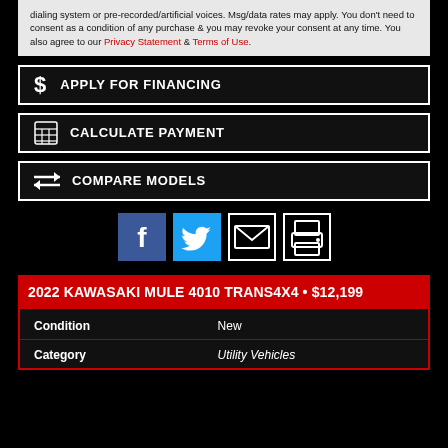dialing system or pre-recorded/artificial voices. Msg/data rates may apply. You don't need to consent as a condition of any purchase & you may revoke your consent at any time. You also agree to our Privacy Statement & Terms of Use.
$ APPLY FOR FINANCING
⊞ CALCULATE PAYMENT
⇄ COMPARE MODELS
[Figure (other): Social media sharing icons: Facebook, Twitter, Email, Print]
2022 KAWASAKI MULE 4010 TRANS4X4 • $12,199
| Condition | New |
| Category | Utility Vehicles |